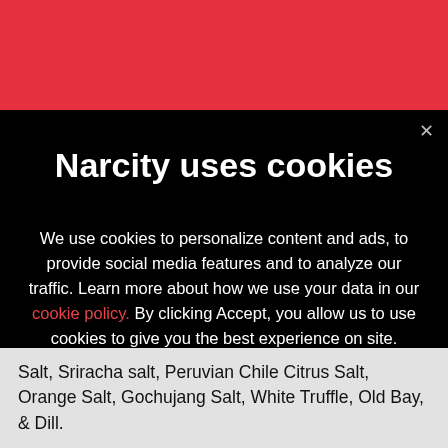[Figure (screenshot): Red header bar of Narcity website]
Narcity uses cookies
We use cookies to personalize content and ads, to provide social media features and to analyze our traffic. Learn more about how we use your data in our cookie policy. By clicking Accept, you allow us to use cookies to give you the best experience on site.
Accept
Salt, Sriracha salt, Peruvian Chile Citrus Salt, Orange Salt, Gochujang Salt, White Truffle, Old Bay, & Dill.